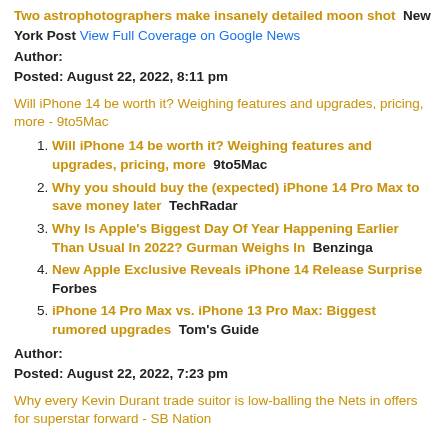Two astrophotographers make insanely detailed moon shot  New York Post  View Full Coverage on Google News
Author:
Posted: August 22, 2022, 8:11 pm
Will iPhone 14 be worth it? Weighing features and upgrades, pricing, more - 9to5Mac
1. Will iPhone 14 be worth it? Weighing features and upgrades, pricing, more  9to5Mac
2. Why you should buy the (expected) iPhone 14 Pro Max to save money later  TechRadar
3. Why Is Apple's Biggest Day Of Year Happening Earlier Than Usual In 2022? Gurman Weighs In  Benzinga
4. New Apple Exclusive Reveals iPhone 14 Release Surprise  Forbes
5. iPhone 14 Pro Max vs. iPhone 13 Pro Max: Biggest rumored upgrades  Tom's Guide
Author:
Posted: August 22, 2022, 7:23 pm
Why every Kevin Durant trade suitor is low-balling the Nets in offers for superstar forward - SB Nation